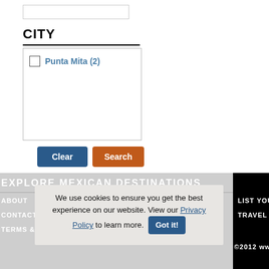CITY
Punta Mita (2)
Clear
Search
EXPLORE MEXICAN DESTINATIONS
ABOUT
CONTACT US
TERMS & CONDITIONS
SITESMAP
SITEMAP
BLOG
LIST YOU
TRAVEL A
©2012 ww
We use cookies to ensure you get the best experience on our website. View our Privacy Policy to learn more. Got it!